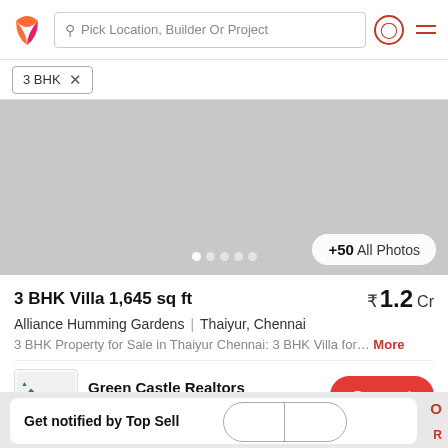Pick Location, Builder Or Project
3 BHK ×
[Figure (photo): Property photo area showing a grey placeholder image with navigation dots and +50 All Photos button]
3 BHK Villa 1,645 sq ft
₹1.2 Cr
Alliance Humming Gardens | Thaiyur, Chennai
3 BHK Property for Sale in Thaiyur Chennai: 3 BHK Villa for... More
Green Castle Realtors
AGENT
Get notified by Top Sell...